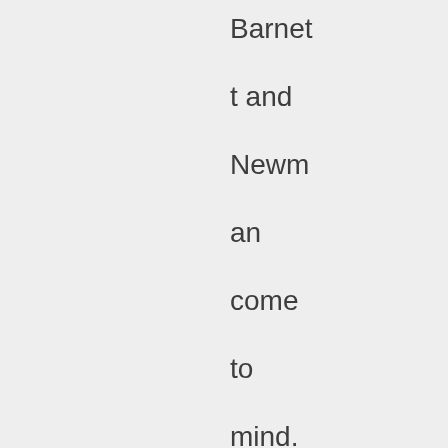Barnett and Newman come to mind. O'Farrell went for a bottle of wine FFS.Look at